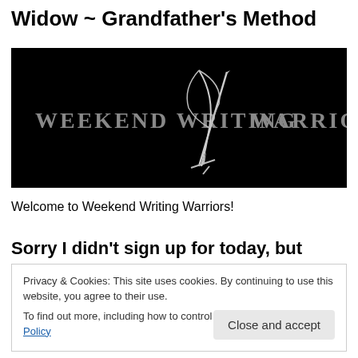Widow ~ Grandfather's Method
[Figure (logo): Weekend Writing Warriors banner logo on black background with feather quill and sword crossed forming an X, text reads WEEKEND WRITING WARRIORS]
Welcome to Weekend Writing Warriors!
Sorry I didn't sign up for today, but
Privacy & Cookies: This site uses cookies. By continuing to use this website, you agree to their use.
To find out more, including how to control cookies, see here: Cookie Policy
Close and accept